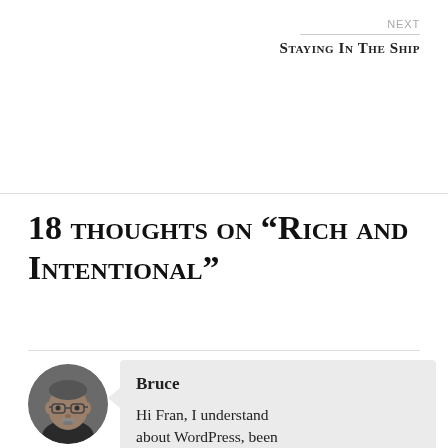NEXT
Staying In The Ship
18 thoughts on “Rich and Intentional”
Bruce
Hi Fran, I understand about WordPress, been thinking about cutting